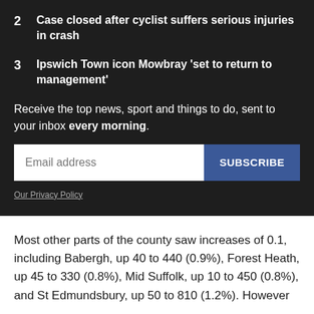2  Case closed after cyclist suffers serious injuries in crash
3  Ipswich Town icon Mowbray 'set to return to management'
Receive the top news, sport and things to do, sent to your inbox every morning.
Email address | SUBSCRIBE
Our Privacy Policy
Most other parts of the county saw increases of 0.1, including Babergh, up 40 to 440 (0.9%), Forest Heath, up 45 to 330 (0.8%), Mid Suffolk, up 10 to 450 (0.8%), and St Edmundsbury, up 50 to 810 (1.2%). However